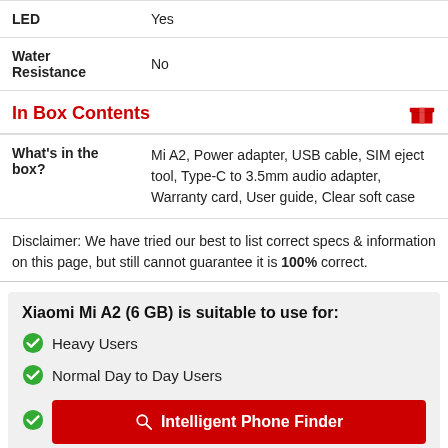|  |  |
| --- | --- |
| LED | Yes |
| Water Resistance | No |
In Box Contents
|  |  |
| --- | --- |
| What's in the box? | Mi A2, Power adapter, USB cable, SIM eject tool, Type-C to 3.5mm audio adapter, Warranty card, User guide, Clear soft case |
Disclaimer: We have tried our best to list correct specs & information on this page, but still cannot guarantee it is 100% correct.
Xiaomi Mi A2 (6 GB) is suitable to use for:
Heavy Users
Normal Day to Day Users
Intelligent Phone Finder